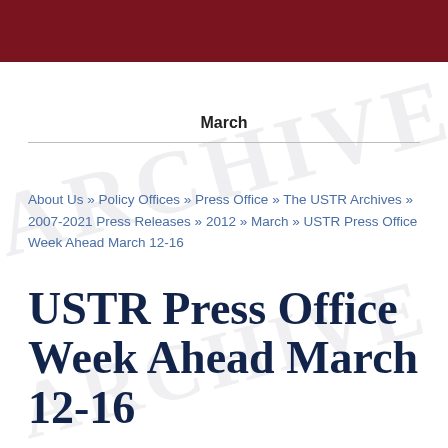March
About Us » Policy Offices » Press Office » The USTR Archives » 2007-2021 Press Releases » 2012 » March » USTR Press Office Week Ahead March 12-16
USTR Press Office Week Ahead March 12-16